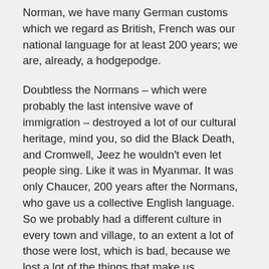Norman, we have many German customs which we regard as British, French was our national language for at least 200 years; we are, already, a hodgepodge.
Doubtless the Normans – which were probably the last intensive wave of immigration – destroyed a lot of our cultural heritage, mind you, so did the Black Death, and Cromwell, Jeez he wouldn't even let people sing. Like it was in Myanmar. It was only Chaucer, 200 years after the Normans, who gave us a collective English language. So we probably had a different culture in every town and village, to an extent a lot of those were lost, which is bad, because we lost a lot of the things that make us